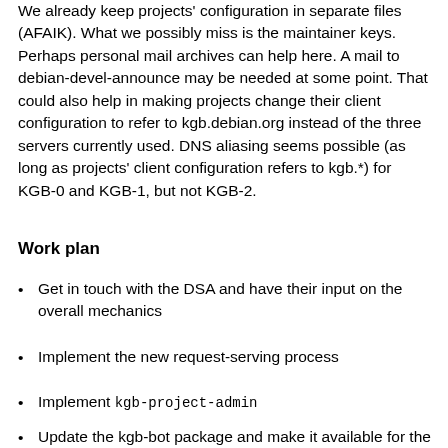We already keep projects' configuration in separate files (AFAIK). What we possibly miss is the maintainer keys. Perhaps personal mail archives can help here. A mail to debian-devel-announce may be needed at some point. That could also help in making projects change their client configuration to refer to kgb.debian.org instead of the three servers currently used. DNS aliasing seems possible (as long as projects' client configuration refers to kgb.*) for KGB-0 and KGB-1, but not KGB-2.
Work plan
Get in touch with the DSA and have their input on the overall mechanics
Implement the new request-serving process
Implement kgb-project-admin
Update the kgb-bot package and make it available for the stable distribution via backports